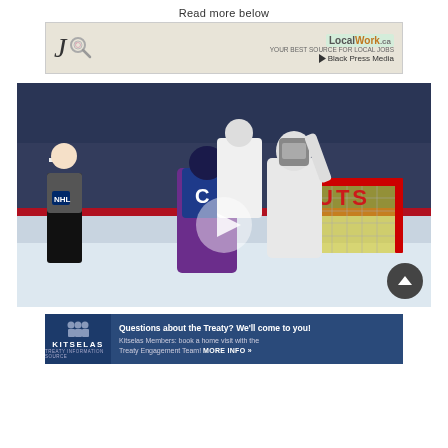Read more below
[Figure (advertisement): LocalWork.ca job search advertisement banner with a large J and magnifying glass logo on the left, and LocalWork.ca Black Press Media logo on the right, on a tan/beige background]
[Figure (photo): Hockey action photo showing a Colorado Avalanche player in blue/maroon jersey battling near the goal net against an Edmonton Oilers goalie in white, with an NHL referee visible, a red goal post, yellow netting, and arena crowd in background. A video play button overlay is visible in the center. A dark scroll-to-top button is in the lower right corner.]
[Figure (advertisement): Kitselas Treaty banner ad with dark blue background. Left section shows Kitselas logo with figure icons and KITSELAS text. Right section reads: Questions about the Treaty? We'll come to you! Kitselas Members: book a home visit with the Treaty Engagement Team! MORE INFO »]